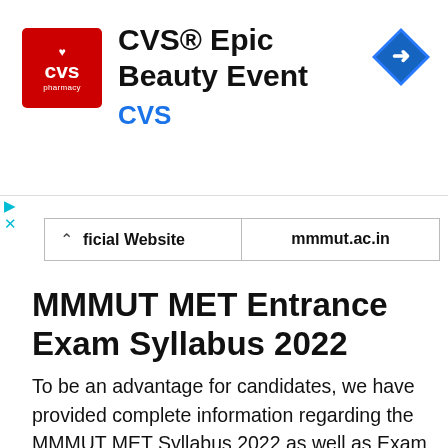[Figure (other): CVS Pharmacy advertisement banner: CVS® Epic Beauty Event with CVS pharmacy logo and a blue navigation arrow icon]
| Official Website | mmmut.ac.in |
| --- | --- |
MMMUT MET Entrance Exam Syllabus 2022
To be an advantage for candidates, we have provided complete information regarding the MMMUT MET Syllabus 2022 as well as Exam Pattern. Besides, candidates who will take part in the MMMUT MET Nursing Entrance Exam 2022 will know the structure of the Question Paper with the subjects with their respective sub-topics and their marks. By preparing high weightage